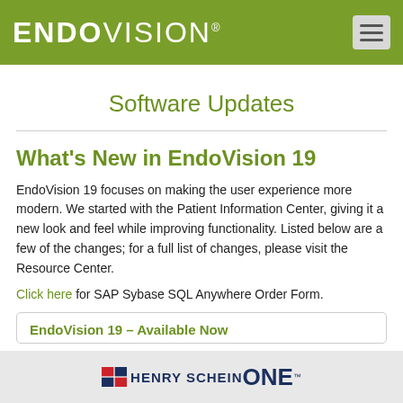ENDOVISION®
Software Updates
What's New in EndoVision 19
EndoVision 19 focuses on making the user experience more modern. We started with the Patient Information Center, giving it a new look and feel while improving functionality. Listed below are a few of the changes; for a full list of changes, please visit the Resource Center.
Click here for SAP Sybase SQL Anywhere Order Form.
EndoVision 19 – Available Now
HENRY SCHEIN ONE™